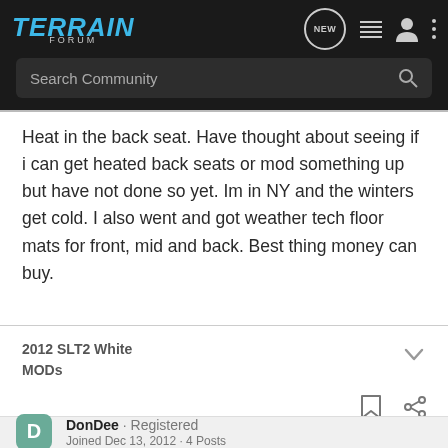TERRAIN FORUM
Heat in the back seat. Have thought about seeing if i can get heated back seats or mod something up but have not done so yet. Im in NY and the winters get cold. I also went and got weather tech floor mats for front, mid and back. Best thing money can buy.
2012 SLT2 White
MODs
DonDee · Registered
Joined Dec 13, 2012 · 4 Posts